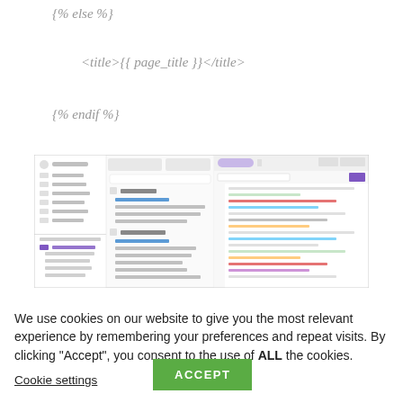{% else %}
<title>{{ page_title }}</title>
{% endif %}
[Figure (screenshot): Screenshot of a web-based code editor interface showing HTML template code with syntax highlighting]
We use cookies on our website to give you the most relevant experience by remembering your preferences and repeat visits. By clicking “Accept”, you consent to the use of ALL the cookies.
Cookie settings
ACCEPT